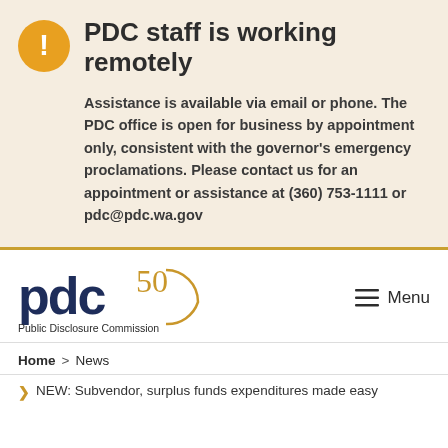PDC staff is working remotely
Assistance is available via email or phone. The PDC office is open for business by appointment only, consistent with the governor's emergency proclamations. Please contact us for an appointment or assistance at (360) 753-1111 or pdc@pdc.wa.gov
[Figure (logo): PDC 50th anniversary logo with text 'Public Disclosure Commission']
Menu
Home > News
NEW: Subvendor, surplus funds expenditures made easy